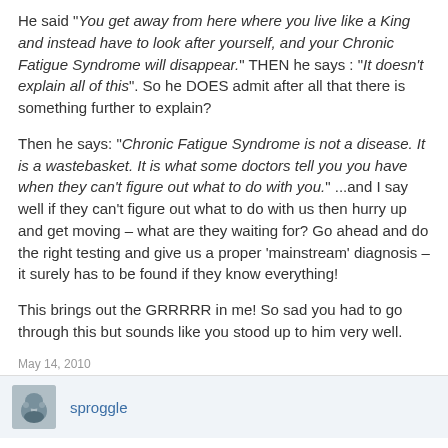He said "You get away from here where you live like a King and instead have to look after yourself, and your Chronic Fatigue Syndrome will disappear." THEN he says : "It doesn't explain all of this". So he DOES admit after all that there is something further to explain?

Then he says: "Chronic Fatigue Syndrome is not a disease. It is a wastebasket. It is what some doctors tell you you have when they can't figure out what to do with you." ...and I say well if they can't figure out what to do with us then hurry up and get moving – what are they waiting for? Go ahead and do the right testing and give us a proper 'mainstream' diagnosis – it surely has to be found if they know everything!

This brings out the GRRRRR in me! So sad you had to go through this but sounds like you stood up to him very well.
May 14, 2010
sproggle